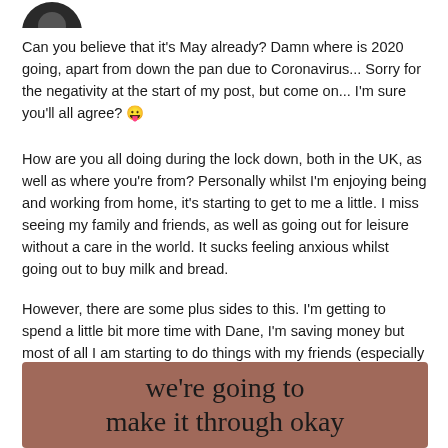[Figure (photo): Partial profile picture of a person, cropped at top of page]
Can you believe that it's May already? Damn where is 2020 going, apart from down the pan due to Coronavirus... Sorry for the negativity at the start of my post, but come on... I'm sure you'll all agree? 😛
How are you all doing during the lock down, both in the UK, as well as where you're from? Personally whilst I'm enjoying being and working from home, it's starting to get to me a little. I miss seeing my family and friends, as well as going out for leisure without a care in the world. It sucks feeling anxious whilst going out to buy milk and bread.
However, there are some plus sides to this. I'm getting to spend a little bit more time with Dane, I'm saving money but most of all I am starting to do things with my friends (especially my best friend) and that makes me happy. 🙂 Every cloud has a silver lining.
[Figure (photo): Brown/mauve background image with handwritten-style text reading 'we're going to make it through okay']